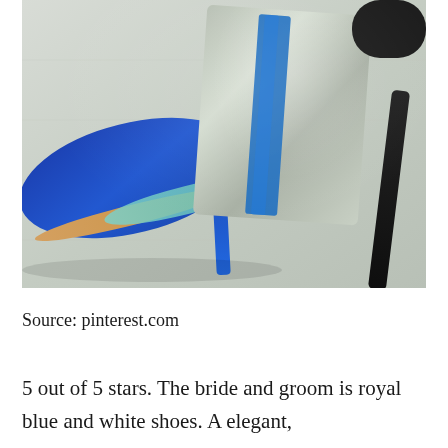[Figure (photo): Photo of elegant high-heel shoes: a royal blue satin pump on the left with a blue metallic heel and teal inner sole, a silver glitter clutch/box in the center with a blue stripe, and a black high-heel shoe partially visible on the right, all arranged on a light grey textured surface.]
Source: pinterest.com
5 out of 5 stars. The bride and groom is royal blue and white shoes. A elegant,